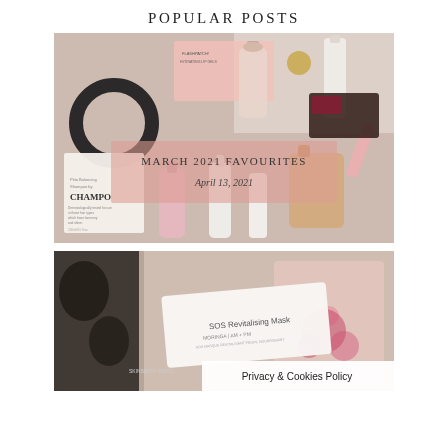POPULAR POSTS
[Figure (photo): Flat lay of beauty products including CHAMPO shampoo, perfume bottles, lip products, serums and makeup items on a soft background. Overlaid with a semi-transparent pink box containing text 'MARCH 2021 FAVOURITES' and 'April 13, 2021'.]
[Figure (photo): Partially visible photo of beauty/skincare products including a white card reading 'SOS Revitalising Mask' with product details, on a colorful background with floral patterns. A 'Privacy & Cookies Policy' bar overlays the bottom right.]